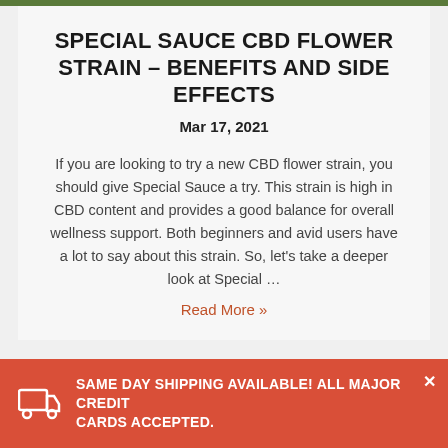SPECIAL SAUCE CBD FLOWER STRAIN – BENEFITS AND SIDE EFFECTS
Mar 17, 2021
If you are looking to try a new CBD flower strain, you should give Special Sauce a try. This strain is high in CBD content and provides a good balance for overall wellness support. Both beginners and avid users have a lot to say about this strain. So, let's take a deeper look at Special …
Read More »
SAME DAY SHIPPING AVAILABLE! ALL MAJOR CREDIT CARDS ACCEPTED.